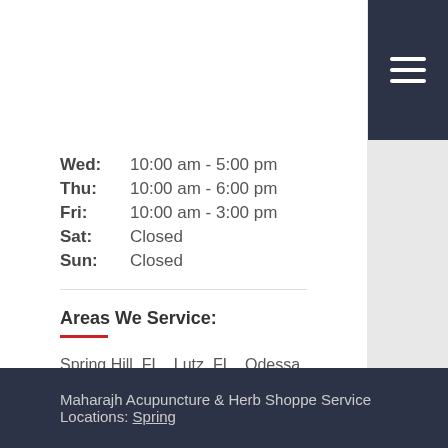Wed: 10:00 am - 5:00 pm
Thu: 10:00 am - 6:00 pm
Fri: 10:00 am - 3:00 pm
Sat: Closed
Sun: Closed
Areas We Service:
Spring Hill, FL,  Lutz, FL,  Odessa, FL,  Aripeka, FL,  Elfers, FL,  Holiday, FL,  Land O Lakes, FL,  Port Richey, FL,  Clearwater, FL,  Crystal Beach, FL,  Dunedin, FL,  Oldsmar, FL,  Ozona, FL,  Palm Harbor, FL,  Safety Harbor, FL,  Tarpon Springs, FL,  Trinity, FL
Maharajh Acupuncture & Herb Shoppe Service Locations: Spring